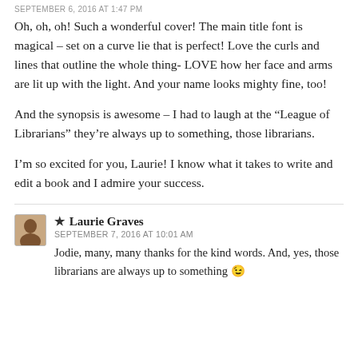SEPTEMBER 6, 2016 AT 1:47 PM
Oh, oh, oh! Such a wonderful cover! The main title font is magical – set on a curve lie that is perfect! Love the curls and lines that outline the whole thing- LOVE how her face and arms are lit up with the light. And your name looks mighty fine, too!
And the synopsis is awesome – I had to laugh at the “League of Librarians” they’re always up to something, those librarians.
I’m so excited for you, Laurie! I know what it takes to write and edit a book and I admire your success.
★ Laurie Graves
SEPTEMBER 7, 2016 AT 10:01 AM
Jodie, many, many thanks for the kind words. And, yes, those librarians are always up to something 😉